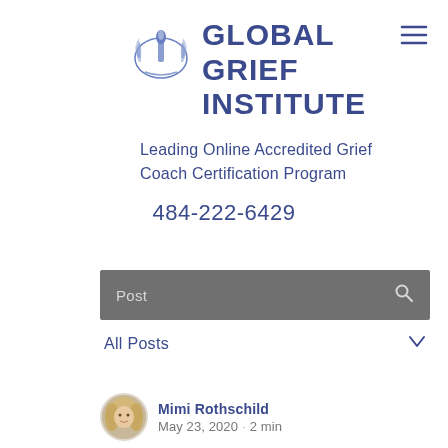[Figure (logo): Global Grief Institute logo with torch and laurel wreath emblem in blue]
GLOBAL GRIEF INSTITUTE
Leading Online Accredited Grief Coach Certification Program
484-222-6429
Post
All Posts
Mimi Rothschild
May 23, 2020 · 2 min